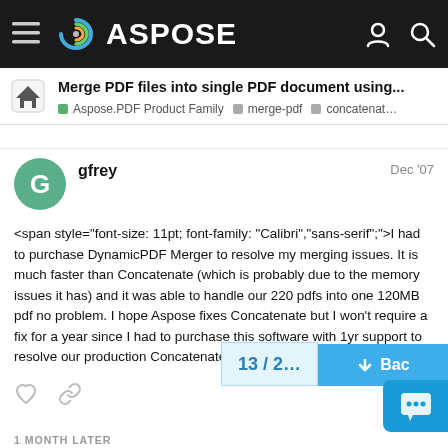ASPOSE
Merge PDF files into single PDF document using...
Aspose.PDF Product Family  merge-pdf  concatenat...
gfrey   Dec '07
<span style="font-size: 11pt; font-family: “Calibri”,“sans-serif”;">I had to purchase DynamicPDF Merger to resolve my merging issues. It is much faster than Concatenate (which is probably due to the memory issues it has) and it was able to handle our 220 pdfs into one 120MB pdf no problem. I hope Aspose fixes Concatenate but I won’t require a fix for a year since I had to purchase this software with 1yr support to resolve our production Concatenate issue.
13 / 2…
1 MONTH LATER